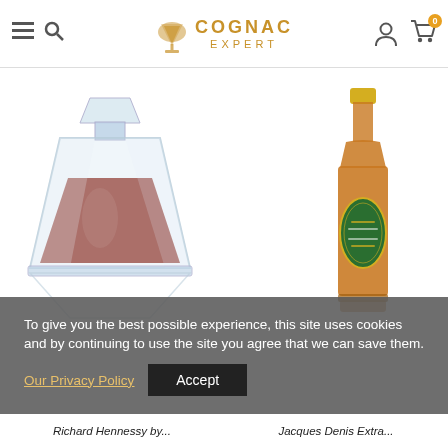[Figure (logo): Cognac Expert logo with cognac glass icon and gold text reading COGNAC EXPERT]
[Figure (photo): Richard Hennessy crystal decanter bottle with amber cognac]
[Figure (photo): Jacques Denis Extra cognac bottle with green label and yellow cap]
To give you the best possible experience, this site uses cookies and by continuing to use the site you agree that we can save them.
Our Privacy Policy
Accept
Richard Hennessy by...
Jacques Denis Extra...